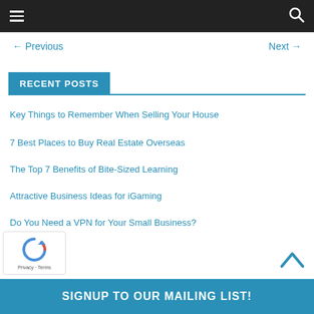Navigation bar with hamburger menu and search icon
← Previous    Next →
RECENT POSTS
Key Things to Remember When Selling Your House
7 Best Places to Buy Real Estate Overseas
The Top 7 Benefits of Bite-Sized Learning
Attractive Business Ideas for iGaming
Do You Need a VPN for Your Small Business?
SIGNUP TO OUR MAILING LIST!